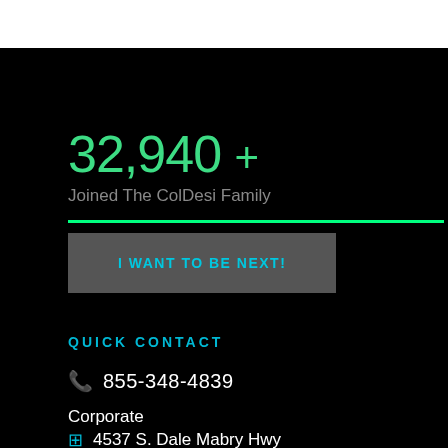32,940 +
Joined The ColDesi Family
I WANT TO BE NEXT!
QUICK CONTACT
855-348-4839
Corporate
4537 S. Dale Mabry Hwy